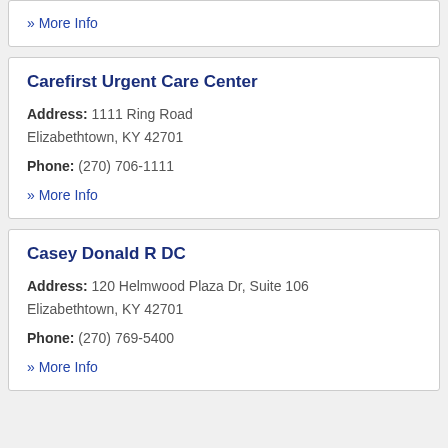» More Info
Carefirst Urgent Care Center
Address: 1111 Ring Road Elizabethtown, KY 42701
Phone: (270) 706-1111
» More Info
Casey Donald R DC
Address: 120 Helmwood Plaza Dr, Suite 106 Elizabethtown, KY 42701
Phone: (270) 769-5400
» More Info